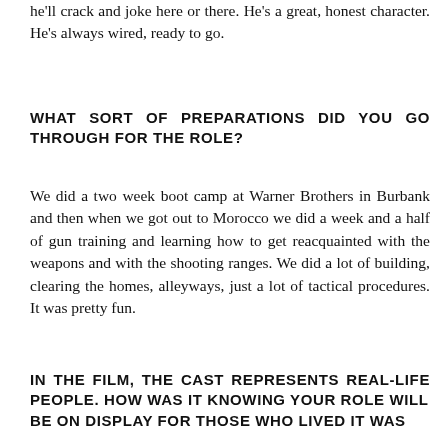he'll crack and joke here or there. He's a great, honest character. He's always wired, ready to go.
WHAT SORT OF PREPARATIONS DID YOU GO THROUGH FOR THE ROLE?
We did a two week boot camp at Warner Brothers in Burbank and then when we got out to Morocco we did a week and a half of gun training and learning how to get reacquainted with the weapons and with the shooting ranges. We did a lot of building, clearing the homes, alleyways, just a lot of tactical procedures. It was pretty fun.
IN THE FILM, THE CAST REPRESENTS REAL-LIFE PEOPLE. HOW WAS IT KNOWING YOUR ROLE WILL BE ON DISPLAY FOR THOSE WHO LIVED IT WAS